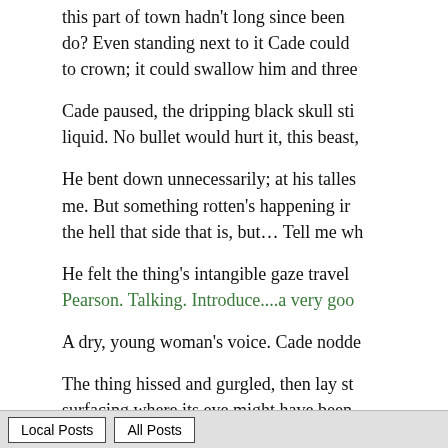this part of town hadn't long since been do? Even standing next to it Cade could to crown; it could swallow him and three
Cade paused, the dripping black skull sti liquid. No bullet would hurt it, this beast,
He bent down unnecessarily; at his talles me. But something rotten's happening ir the hell that side that is, but… Tell me wh
He felt the thing's intangible gaze travel Pearson. Talking. Introduce....a very goo
A dry, young woman's voice. Cade nodde
The thing hissed and gurgled, then lay st surfacing where its eye might have been piano notes still chiming, as the rain did
Local Posts   All Posts